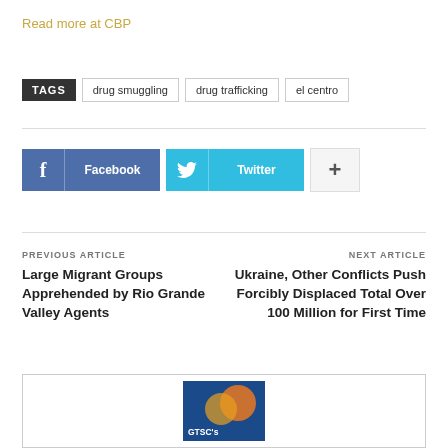Read more at CBP
TAGS  drug smuggling  drug trafficking  el centro
Facebook  Twitter  +
PREVIOUS ARTICLE
Large Migrant Groups Apprehended by Rio Grande Valley Agents
NEXT ARTICLE
Ukraine, Other Conflicts Push Forcibly Displaced Total Over 100 Million for First Time
[Figure (other): Promotional box with GTSC logo on blue background with orange circle graphic]